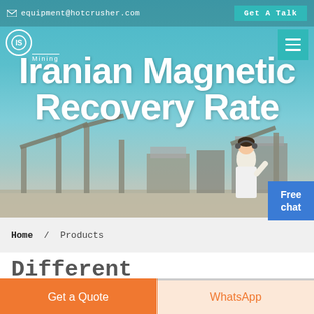equipment@hotcrusher.com   Get A Talk
[Figure (photo): Industrial mining/crushing equipment facility with conveyors and machinery against a blue sky background. Hero banner image.]
Iranian Magnetic Recovery Rate
Home / Products
Different Machines To Meet All Need
Get a Quote   WhatsApp